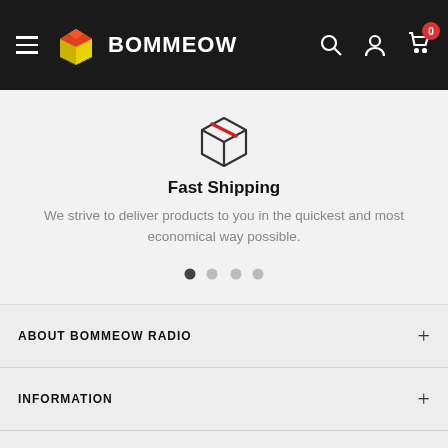BOMMEOW — navigation bar with hamburger menu, logo, search, account, and cart icons
[Figure (illustration): Package/box icon outlined in dark, with a red tape strip across the top]
Fast Shipping
We strive to deliver products to you in the quickest and most economical way possible.
[Figure (infographic): Carousel pagination dots: 4 dots, first one filled/dark, rest light gray]
ABOUT BOMMEOW RADIO
INFORMATION
WANT TO RECEIVE PROMOTIONS UPDATES?